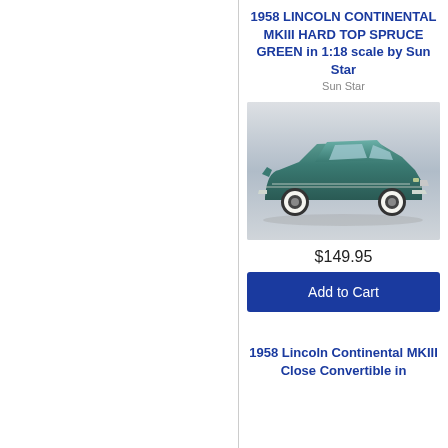Follow
1958 LINCOLN CONTINENTAL MKIII HARD TOP SPRUCE GREEN in 1:18 scale by Sun Star
Sun Star
[Figure (photo): 1958 Lincoln Continental MkIII Hard Top Spruce Green scale model car, side view, metallic teal/green color with whitewall tires, on light grey background]
$149.95
Add to Cart
1958 Lincoln Continental MKIII Close Convertible in